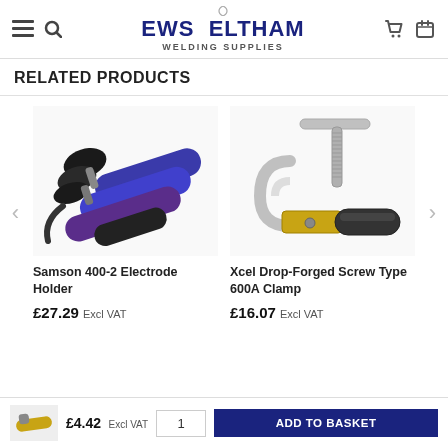[Figure (logo): EWS Eltham Welding Supplies logo with navigation icons (hamburger menu, search, phone, basket)]
RELATED PRODUCTS
[Figure (photo): Samson 400-2 Electrode Holder - blue/black electrode holders]
Samson 400-2 Electrode Holder
£27.29 Excl VAT
[Figure (photo): Xcel Drop-Forged Screw Type 600A Clamp - silver and gold clamp tool]
Xcel Drop-Forged Screw Type 600A Clamp
£16.07 Excl VAT
£4.42 Excl VAT
ADD TO BASKET